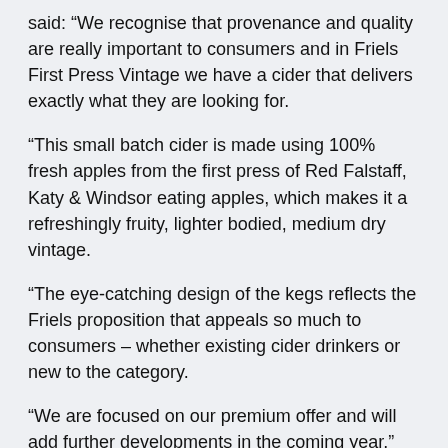said: “We recognise that provenance and quality are really important to consumers and in Friels First Press Vintage we have a cider that delivers exactly what they are looking for.
“This small batch cider is made using 100% fresh apples from the first press of Red Falstaff, Katy & Windsor eating apples, which makes it a refreshingly fruity, lighter bodied, medium dry vintage.
“The eye-catching design of the kegs reflects the Friels proposition that appeals so much to consumers – whether existing cider drinkers or new to the category.
“We are focused on our premium offer and will add further developments in the coming year.”
The move into this new format was made possible by a new keg line, which will be able to fill 200 x 5 litre party kegs per hour.